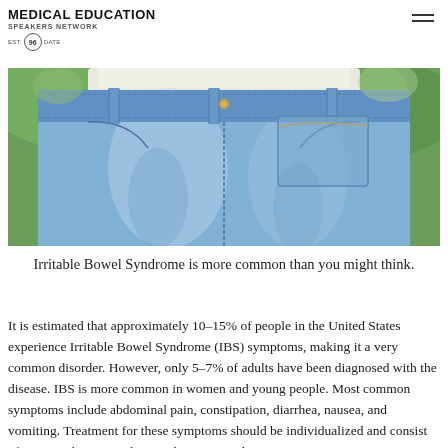MEDICAL EDUCATION SPEAKERS NETWORK EST. 96 DATE
[Figure (photo): Close-up photo of a person wearing light blue denim jeans, showing the waist, pockets and belt loops area, with a blurred green outdoor background.]
Irritable Bowel Syndrome is more common than you might think.
It is estimated that approximately 10-15% of people in the United States experience Irritable Bowel Syndrome (IBS) symptoms, making it a very common disorder. However, only 5-7% of adults have been diagnosed with the disease. IBS is more common in women and young people. Most common symptoms include abdominal pain, constipation, diarrhea, nausea, and vomiting. Treatment for these symptoms should be individualized and consist of various changes in diet, medications, and